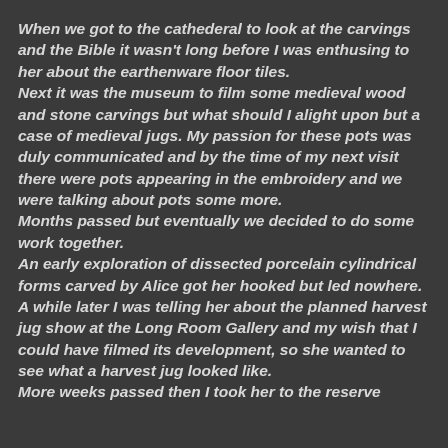When we got to the cathederal to look at the carvings and the Bible it wasn't long before I was enthusing to her about the earthenware floor tiles.
Next it was the museum to film some medieval wood and stone carvings but what should I alight upon but a case of medieval jugs. My passion for these pots was duly communicated and by the time of my next visit there were pots appearing in the embroidery and we were talking about pots some more.
Months passed but eventually we decided to do some work together.
An early exploration of dissected porcelain cylindrical forms carved by Alice got her hooked but led nowhere. A while later I was telling her about the planned harvest jug show at the Long Room Gallery and my wish that I could have filmed its development, so she wanted to see what a harvest jug looked like.
More weeks passed then I took her to the reserve